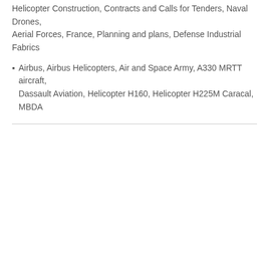Helicopter Construction, Contracts and Calls for Tenders, Naval Drones, Aerial Forces, France, Planning and plans, Defense Industrial Fabrics
▪  Airbus, Airbus Helicopters, Air and Space Army, A330 MRTT aircraft, Dassault Aviation, Helicopter H160, Helicopter H225M Caracal, MBDA